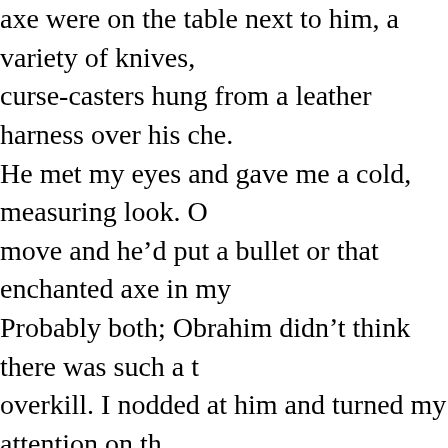axe were on the table next to him, a variety of knives, curse-casters hung from a leather harness over his che. He met my eyes and gave me a cold, measuring look. move and he'd put a bullet or that enchanted axe in my Probably both; Obrahim didn't think there was such a t overkill. I nodded at him and turned my attention on th brought us here.
Don Rodrigo Duende was behind the central table, sitti ornate wood and gold leaf chair instead of a bench. Ha several actual monarchs, I was a lot less impressed wit than I was with the killers sharing the room with us an who'd summoned us. The troll duo walked past us and either side of the table, ready to crush anyone who dare their master.
The crime lord was a stout man of middle stature and b eyes, clean-shaven. He was wearing a white ruffled shi buttons under a ornate gold-and-black vest and lots of two pounds of gold in assorted rings, necklaces and pe of the gaudy stuff had magical properties, but most of i bling, as they used to say in my world. Despite the fine